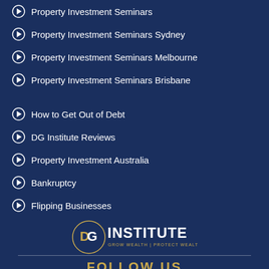Property Investment Seminars
Property Investment Seminars Sydney
Property Investment Seminars Melbourne
Property Investment Seminars Brisbane
How to Get Out of Debt
DG Institute Reviews
Property Investment Australia
Bankruptcy
Flipping Businesses
[Figure (logo): DG Institute logo with circular ring, 'DG' monogram in gold and white, 'INSTITUTE' in white large text, 'GROW WEALTH | PROTECT WEALTH' in gold small text]
FOLLOW US